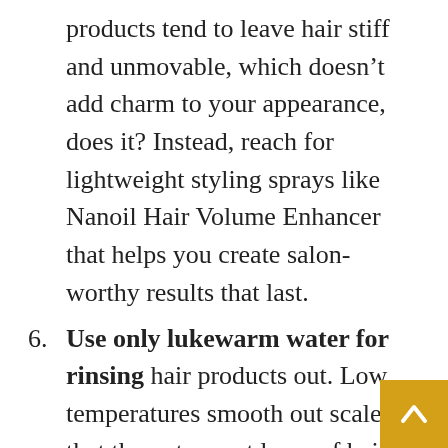products tend to leave hair stiff and unmovable, which doesn't add charm to your appearance, does it? Instead, reach for lightweight styling sprays like Nanoil Hair Volume Enhancer that helps you create salon-worthy results that last.
6. Use only lukewarm water for rinsing hair products out. Low temperatures smooth out scales that the outermost layer of hair is composed of. This results in shinier and sleeker strands. Additionally, once the scales overlap each other closely, they create a kind of barrier that locks water inside the hair. As it's easy to guess, this gives you moisturi…